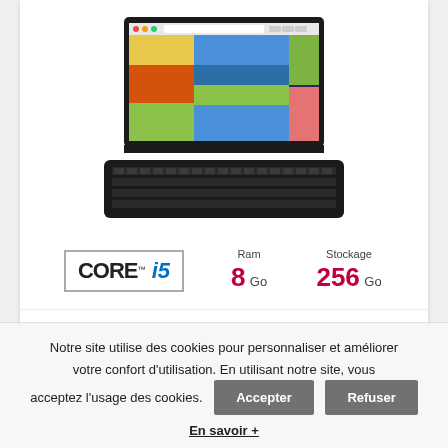[Figure (photo): Lenovo Ideapad MIIX 510-12IKB tablet with detachable keyboard, showing a browser window on screen with colorful photos. The device is shown from a front-facing angle with the keyboard attached below.]
CORE i5  Ram 8 Go  Stockage 256 Go
Lenovo Ideapad MIIX 510-12IKB (AVEC CLAVIER) Grade B
Notre site utilise des cookies pour personnaliser et améliorer votre confort d'utilisation. En utilisant notre site, vous acceptez l'usage des cookies. [Accepter] [Refuser]
En savoir +